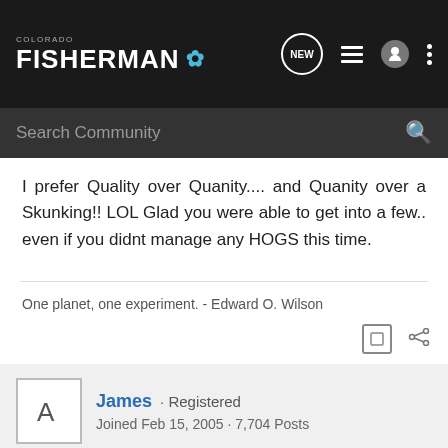Colorado Fisherman
I prefer Quality over Quanity.... and Quanity over a Skunking!! LOL Glad you were able to get into a few.. even if you didnt manage any HOGS this time.
One planet, one experiment. - Edward O. Wilson
James · Registered
Joined Feb 15, 2005 · 7,704 Posts
#9 · Mar 3, 2014